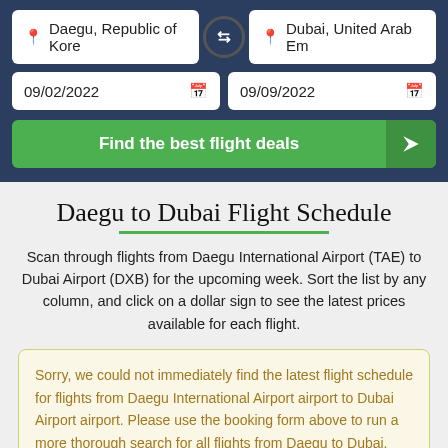[Figure (screenshot): Flight search form with two location fields (Daegu, Republic of Korea and Dubai, United Arab Em), swap button, two date fields (09/02/2022 and 09/09/2022), and a green Find the best flight deals button]
Daegu to Dubai Flight Schedule
Scan through flights from Daegu International Airport (TAE) to Dubai Airport (DXB) for the upcoming week. Sort the list by any column, and click on a dollar sign to see the latest prices available for each flight.
Sorry, we could not immediately find the latest flight schedule for flights from Daegu International Airport airport to Dubai Airport airport. Please use the booking form above to run a more thorough search for all flights from Daegu to Dubai.